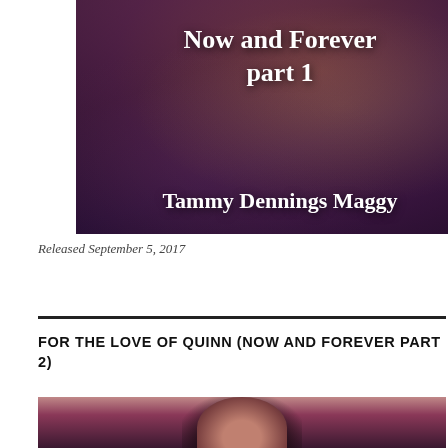[Figure (illustration): Book cover for 'Now and Forever part 1' by Tammy Dennings Maggy. Dark purple/maroon background suggesting a casino roulette wheel. White bold text shows title at top right and author name at bottom left.]
Released September 5, 2017
FOR THE LOVE OF QUINN (NOW AND FOREVER PART 2)
[Figure (illustration): Partial view of a second book cover showing a person's face/hair against a dark reddish-purple background, cropped at bottom of page.]